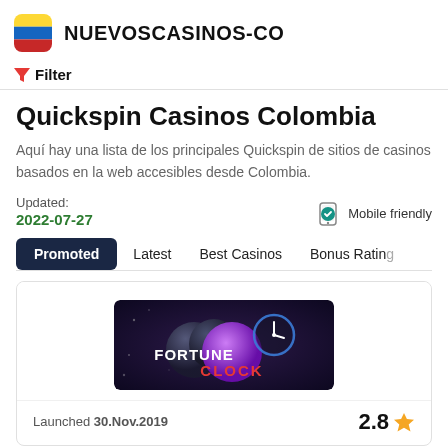NUEVOSCASINOS-CO
Filter
Quickspin Casinos Colombia
Aquí hay una lista de los principales Quickspin de sitios de casinos basados en la web accesibles desde Colombia.
Updated: 2022-07-27
Mobile friendly
Promoted
Latest
Best Casinos
Bonus Rating
[Figure (logo): Fortune Clock casino logo with colorful spheres and clock graphic]
Launched 30.Nov.2019
2.8